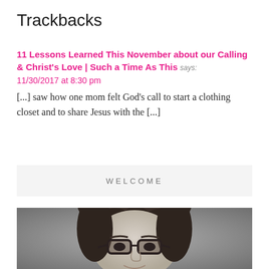Trackbacks
11 Lessons Learned This November about our Calling & Christ's Love | Such a Time As This says:
11/30/2017 at 8:30 pm
[...] saw how one mom felt God's call to start a clothing closet and to share Jesus with the [...]
WELCOME
[Figure (photo): Black and white photo of a woman with glasses and dark hair pulled back, smiling, against a blurred background.]